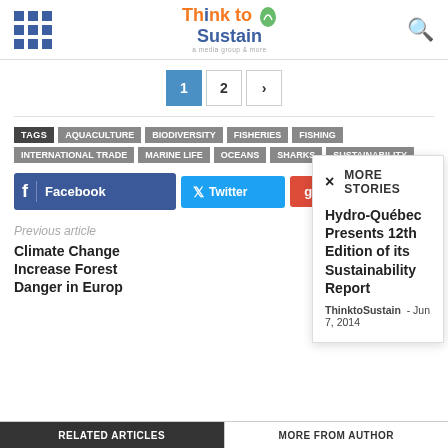Think to Sustain
1 2 >
TAGS AQUACULTURE BIODIVERSITY FISHERIES FISHING INTERNATIONAL TRADE MARINE LIFE OCEANS SHARKS SUSTAINABILITY
Facebook Twitter
MORE STORIES
Hydro-Québec Presents 12th Edition of its Sustainability Report
ThinktoSustain - Jun 7, 2014
Previous article
Climate Change Increase Forest Danger in Europ
RELATED ARTICLES   MORE FROM AUTHOR